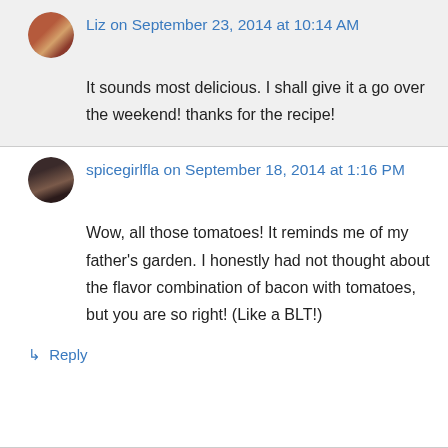Liz on September 23, 2014 at 10:14 AM
It sounds most delicious. I shall give it a go over the weekend! thanks for the recipe!
spicegirlfla on September 18, 2014 at 1:16 PM
Wow, all those tomatoes! It reminds me of my father's garden. I honestly had not thought about the flavor combination of bacon with tomatoes, but you are so right! (Like a BLT!)
↳ Reply